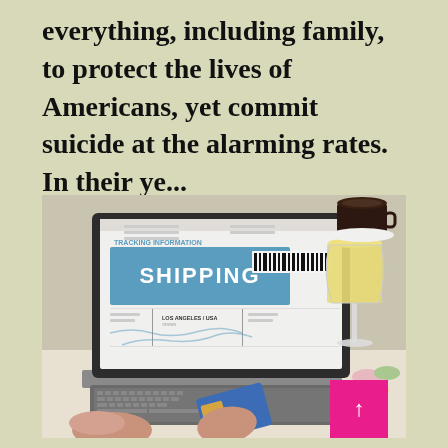everything, including family, to protect the lives of Americans, yet commit suicide at the alarming rates. In their ye...
[Figure (photo): A person sitting at a laptop computer displaying a shipping tracking information page with the word SHIPPING prominently shown in white text on a blue banner with a barcode. The person holds a blue credit card in one hand and types with the other. To the right of the laptop is a wine glass with white wine, macarons, and a coffee cup. There is a pink arrow-up button in the lower right corner.]